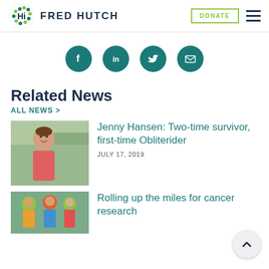FRED HUTCH
[Figure (infographic): Social media share icons: Facebook, LinkedIn, Twitter, Email — teal circles]
Related News
ALL NEWS >
[Figure (photo): Photo of Jenny Hansen, a woman smiling outdoors in a pink top]
Jenny Hansen: Two-time survivor, first-time Obliterider
JULY 17, 2019
[Figure (photo): Photo of cyclists wearing helmets at an outdoor event]
Rolling up the miles for cancer research